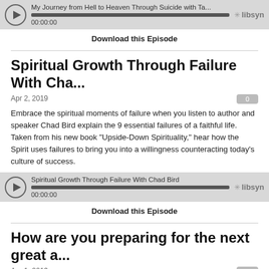[Figure (screenshot): Libsyn audio player for 'My Journey from Hell to Heaven Through Suicide with Ta...' showing play button, progress bar, and 00:00:00 timestamp]
Download this Episode
Spiritual Growth Through Failure With Cha...
Apr 2, 2019
Embrace the spiritual moments of failure when you listen to author and speaker Chad Bird explain the 9 essential failures of a faithful life. Taken from his new book "Upside-Down Spirituality," hear how the Spirit uses failures to bring you into a willingness counteracting today's culture of success.
[Figure (screenshot): Libsyn audio player for 'Spiritual Growth Through Failure With Chad Bird' showing play button, progress bar, and 00:00:00 timestamp]
Download this Episode
How are you preparing for the next great a...
Apr 1, 2019